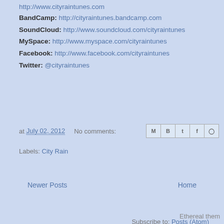http://www.cityraintunes.com
BandCamp: http://cityraintunes.bandcamp.com
SoundCloud: http://www.soundcloud.com/cityraintunes
MySpace: http://www.myspace.com/cityraintunes
Facebook: http://www.facebook.com/cityraintunes
Twitter: @cityraintunes
at July 02, 2012   No comments:
Labels: City Rain
Newer Posts
Home
Subscribe to: Posts (Atom)
Ethereal them